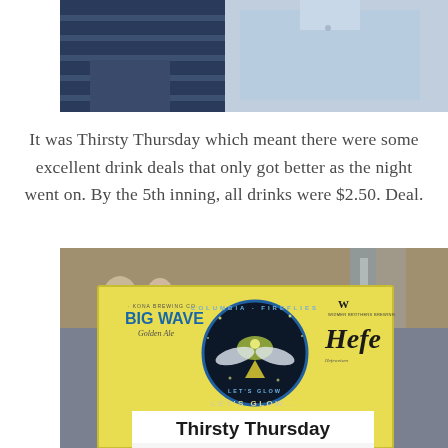[Figure (photo): Top portion of a photo showing two people, one in a blue shirt and one in a dark striped top, cropped at the top of the page.]
It was Thirsty Thursday which meant there were some excellent drink deals that only got better as the night went on. By the 5th inning, all drinks were $2.50. Deal.
[Figure (photo): Photo of a Columbia Fireflies promotional sign at a beer stand showing Big Wave Golden Ale by Kona Brewing Co., Widmer Brothers Brewing Hefe, the Columbia Fireflies logo, 'LET'S GLOW...' text, a 'Thirsty Thursday' banner, and pricing showing $3.50 for 24oz Domestic and $2.50 for 16oz.]